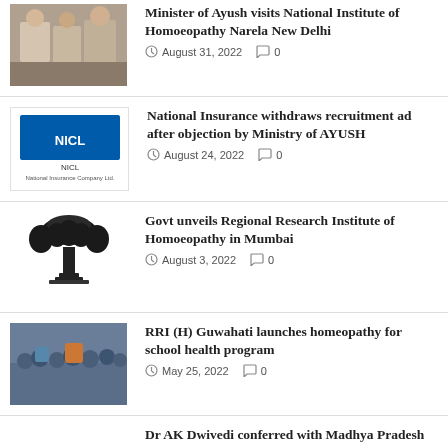[Figure (photo): Group photo at National Institute of Homoeopathy Narela New Delhi with Minister of Ayush]
Minister of Ayush visits National Institute of Homoeopathy Narela New Delhi
August 31, 2022   0
[Figure (logo): NICL - National Insurance Company Ltd logo]
National Insurance withdraws recruitment ad after objection by Ministry of AYUSH
August 24, 2022   0
[Figure (illustration): Indian government emblem / Ashoka Pillar seal]
Govt unveils Regional Research Institute of Homoeopathy in Mumbai
August 3, 2022   0
[Figure (photo): Group of school children and officials at RRI(H) Guwahati homeopathy for school health program launch]
RRI (H) Guwahati launches homeopathy for school health program
May 25, 2022   0
Dr AK Dwivedi conferred with Madhya Pradesh Ratna Award
May 2, 2022   0